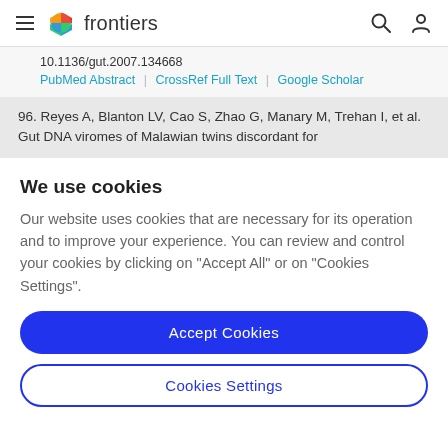frontiers
10.1136/gut.2007.134668
PubMed Abstract | CrossRef Full Text | Google Scholar
96. Reyes A, Blanton LV, Cao S, Zhao G, Manary M, Trehan I, et al. Gut DNA viromes of Malawian twins discordant for
We use cookies
Our website uses cookies that are necessary for its operation and to improve your experience. You can review and control your cookies by clicking on "Accept All" or on "Cookies Settings".
Accept Cookies
Cookies Settings